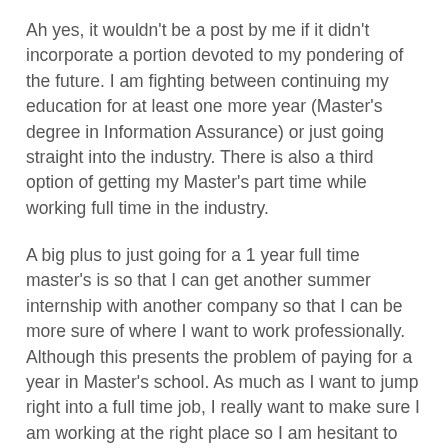Ah yes, it wouldn't be a post by me if it didn't incorporate a portion devoted to my pondering of the future. I am fighting between continuing my education for at least one more year (Master's degree in Information Assurance) or just going straight into the industry. There is also a third option of getting my Master's part time while working full time in the industry.
A big plus to just going for a 1 year full time master's is so that I can get another summer internship with another company so that I can be more sure of where I want to work professionally. Although this presents the problem of paying for a year in Master's school. As much as I want to jump right into a full time job, I really want to make sure I am working at the right place so I am hesitant to just jump right in after graduation with only one true professional internship under my belt at the moment. I will have to update this subject matter when I fully decide (within the next few months I guess).